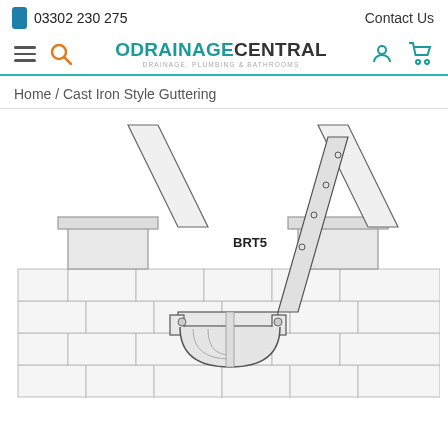03302 230 275  Contact Us
[Figure (logo): Drainage Central logo with teal O and bold text]
Home / Cast Iron Style Guttering
[Figure (engineering-diagram): Technical line drawing of a cast iron style guttering bracket (BRT5) mounted on a brick wall, showing the gutter bracket arm and semicircular gutter profile with mounting hardware]